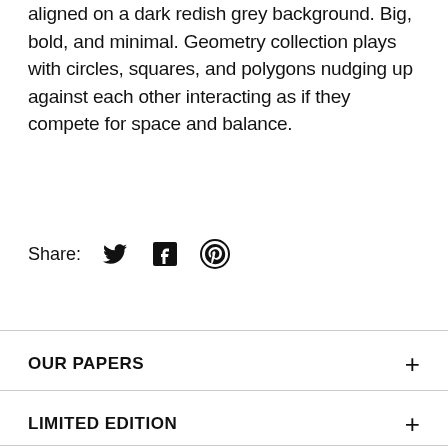aligned on a dark redish grey background. Big, bold, and minimal. Geometry collection plays with circles, squares, and polygons nudging up against each other interacting as if they compete for space and balance.
Share:
[Figure (other): Social share icons: Twitter bird icon, Facebook F icon, Pinterest P icon]
OUR PAPERS
LIMITED EDITION